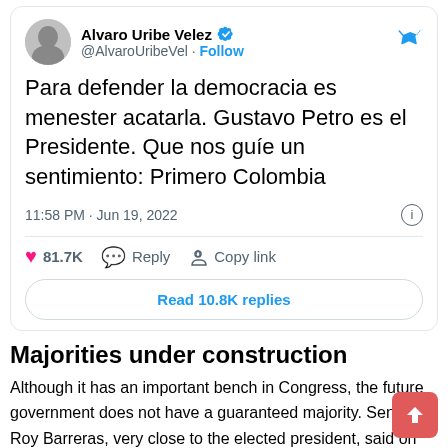[Figure (screenshot): Tweet by Alvaro Uribe Velez (@AlvaroUribeVel) with verified badge and Follow button. Tweet text: 'Para defender la democracia es menester acatarla. Gustavo Petro es el Presidente. Que nos guíe un sentimiento: Primero Colombia'. Posted at 11:58 PM · Jun 19, 2022. 81.7K likes. Actions: Reply, Copy link. Read 10.8K replies button.]
Majorities under construction
Although it has an important bench in Congress, the future government does not have a guaranteed majority. Senator Roy Barreras, very close to the elected president, said on Monday that the coalition that accompanies Petro will build bridges with